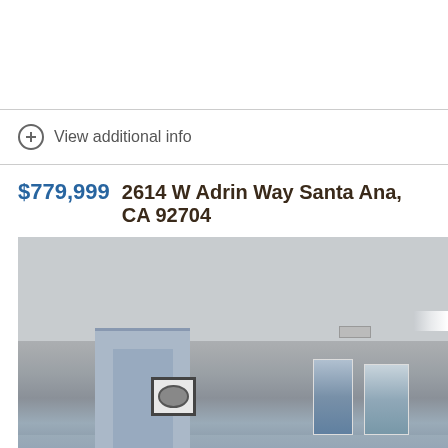View additional info
$779,999  2614 W Adrin Way Santa Ana, CA 92704
[Figure (photo): Interior room photo showing a hallway/room with textured ceiling, a door frame on the left side, a framed picture on the wall, and two pieces of wall art on the right side. The room has light blue-gray walls and a ceiling vent is visible.]